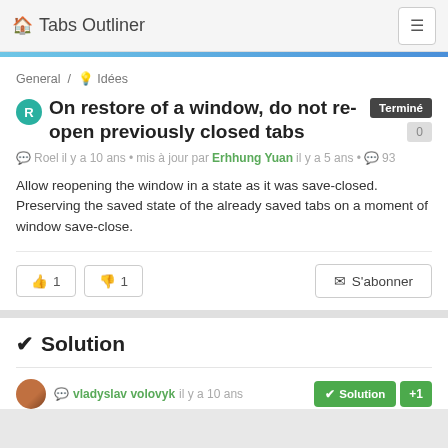🏠 Tabs Outliner
General / 💡 Idées
On restore of a window, do not re-open previously closed tabs
Roel il y a 10 ans • mis à jour par Erhhung Yuan il y a 5 ans • 93
Allow reopening the window in a state as it was save-closed. Preserving the saved state of the already saved tabs on a moment of window save-close.
👍 1   👎 1   ✉ S'abonner
✔ Solution
vladyslav volovyk il y a 10 ans